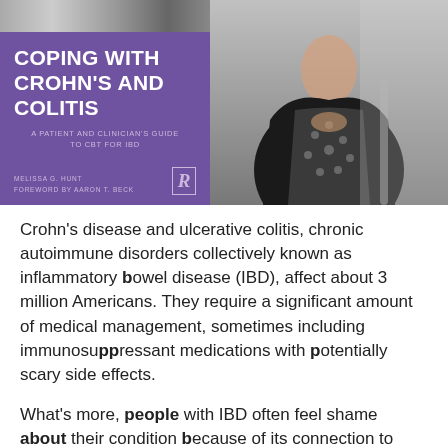[Figure (photo): Left side: book cover of 'Coping with Crohn's and Colitis: A Patient and Clinician's Guide to CBT for IBD' by Melissa G. Hunt, foreword by Aaron T. Beck, with purple background and Routledge logo. Right side: photo of a woman in a black blazer and patterned dress, standing indoors.]
Crohn's disease and ulcerative colitis, chronic autoimmune disorders collectively known as inflammatory bowel disease (IBD), affect about 3 million Americans. They require a significant amount of medical management, sometimes including immunosuppressant medications with potentially scary side effects.
What's more, people with IBD often feel shame about their condition because of its connection to bathroom behaviors, says Penn clinical